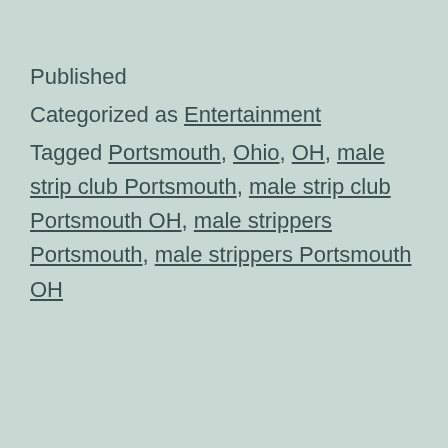Published
Categorized as Entertainment
Tagged Portsmouth, Ohio, OH, male strip club Portsmouth, male strip club Portsmouth OH, male strippers Portsmouth, male strippers Portsmouth OH